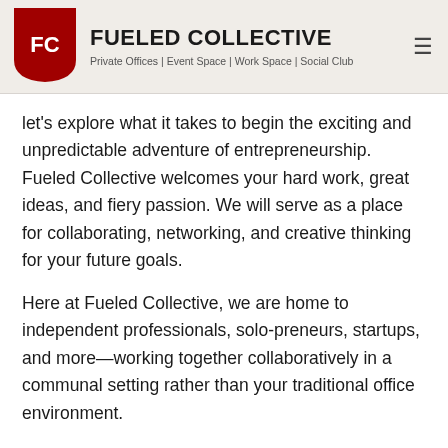FUELED COLLECTIVE | Private Offices | Event Space | Work Space | Social Club
let's explore what it takes to begin the exciting and unpredictable adventure of entrepreneurship. Fueled Collective welcomes your hard work, great ideas, and fiery passion. We will serve as a place for collaborating, networking, and creative thinking for your future goals.
Here at Fueled Collective, we are home to independent professionals, solo-preneurs, startups, and more—working together collaboratively in a communal setting rather than your traditional office environment.
"The biggest risk is not taking any risk," quotes Mark Zuckerberg. Co-working allows you to network and connect with other business owners. Looking for a web